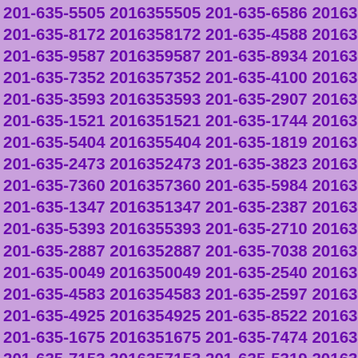201-635-5505 2016355505 201-635-6586 2016356586 201-635-8172 2016358172 201-635-4588 2016354588 201-635-9587 2016359587 201-635-8934 2016358934 201-635-7352 2016357352 201-635-4100 2016354100 201-635-3593 2016353593 201-635-2907 2016352907 201-635-1521 2016351521 201-635-1744 2016351744 201-635-5404 2016355404 201-635-1819 2016351819 201-635-2473 2016352473 201-635-3823 2016353823 201-635-7360 2016357360 201-635-5984 2016355984 201-635-1347 2016351347 201-635-2387 2016352387 201-635-5393 2016355393 201-635-2710 2016352710 201-635-2887 2016352887 201-635-7038 2016357038 201-635-0049 2016350049 201-635-2540 2016352540 201-635-4583 2016354583 201-635-2597 2016352597 201-635-4925 2016354925 201-635-8522 2016358522 201-635-1675 2016351675 201-635-7474 2016357474 201-635-7153 2016357153 201-635-5319 2016355319 201-635-0062 2016350062 201-635-6382 2016356382 201-635-6986 2016356986 201-635-8470 2016358470 201-635-2979 2016352979 201-635-1508 2016351508 201-635-2961 2016352961 201-635-5934 2016355934